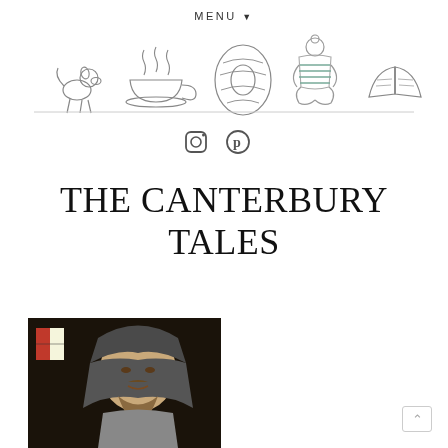MENU
[Figure (illustration): Row of line-drawn icons: dog, teacup with steam, bread ring, meditating person in green, open book, jar/container, dog — with a horizontal line beneath them]
[Figure (illustration): Social media icons: Instagram and Pinterest]
THE CANTERBURY TALES
[Figure (photo): Portrait painting of Geoffrey Chaucer — medieval man with beard wearing a grey hood against dark background, with a heraldic shield in upper left]